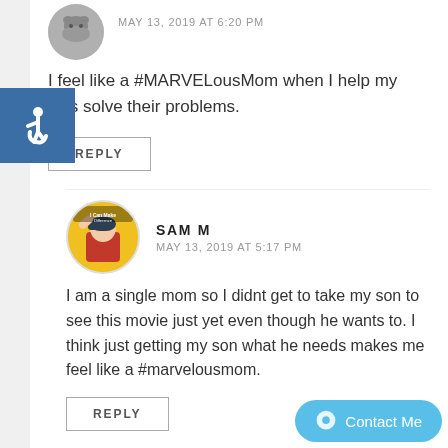[Figure (photo): Circular avatar image of a dog at top of page]
MAY 13, 2019 AT 6:20 PM
[Figure (logo): Accessibility icon badge (blue background with wheelchair symbol)]
I feel like a #MARVELousMom when I help my kids solve their problems.
REPLY
[Figure (photo): Circular avatar image showing Rosie the Riveter style illustration with 'I Can Make a Difference' text]
SAM M
MAY 13, 2019 AT 5:17 PM
I am a single mom so I didnt get to take my son to see this movie just yet even though he wants to. I think just getting my son what he needs makes me feel like a #marvelousmom.
REPLY
Contact Me